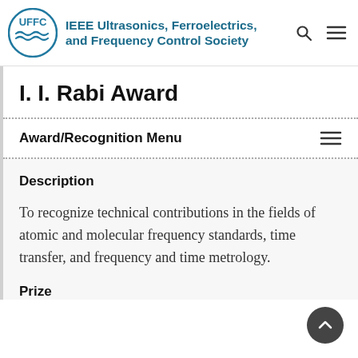IEEE Ultrasonics, Ferroelectrics, and Frequency Control Society
I. I. Rabi Award
Award/Recognition Menu
Description
To recognize technical contributions in the fields of atomic and molecular frequency standards, time transfer, and frequency and time metrology.
Prize